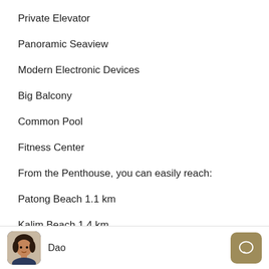Private Elevator
Panoramic Seaview
Modern Electronic Devices
Big Balcony
Common Pool
Fitness Center
From the Penthouse, you can easily reach:
Patong Beach 1.1 km
Kalim Beach 1.4 km
Tri Trang Beach 3.6 km
Dao